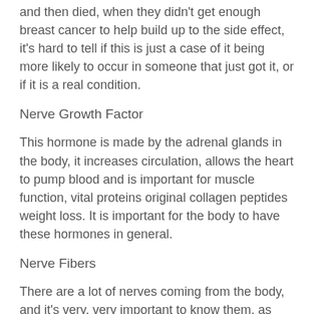and then died, when they didn't get enough breast cancer to help build up to the side effect, it's hard to tell if this is just a case of it being more likely to occur in someone that just got it, or if it is a real condition.
Nerve Growth Factor
This hormone is made by the adrenal glands in the body, it increases circulation, allows the heart to pump blood and is important for muscle function, vital proteins original collagen peptides weight loss. It is important for the body to have these hormones in general.
Nerve Fibers
There are a lot of nerves coming from the body, and it's very, very important to know them, as they can make your life very, very